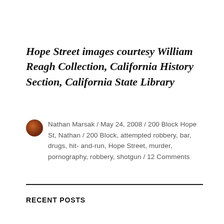Hope Street images courtesy William Reagh Collection, California History Section, California State Library
Nathan Marsak / May 24, 2008 / 200 Block Hope St, Nathan / 200 Block, attempted robbery, bar, drugs, hit-and-run, Hope Street, murder, pornography, robbery, shotgun / 12 Comments
RECENT POSTS